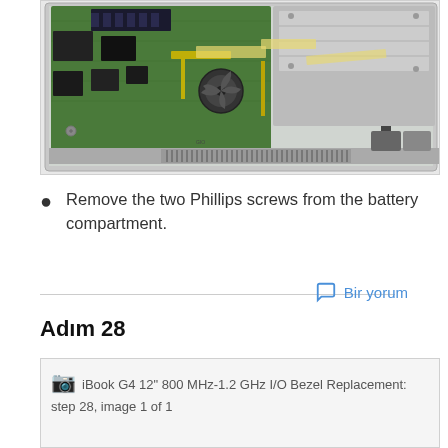[Figure (photo): Inside view of an iBook G4 12-inch laptop showing the motherboard (green PCB) with RAM, chips, fan, flex cables, heat tape, and other components. Bottom section shows ventilation grilles and ports.]
Remove the two Phillips screws from the battery compartment.
Adım 28
[Figure (photo): iBook G4 12" 800 MHz-1.2 GHz I/O Bezel Replacement: step 28, image 1 of 1]